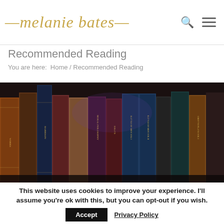melanie bates
Recommended Reading
You are here:  Home / Recommended Reading
[Figure (photo): A row of vintage books with ornate spines in brown, navy blue, purple, and gold tones on a dark shelf]
This website uses cookies to improve your experience. I'll assume you're ok with this, but you can opt-out if you wish. Accept  Privacy Policy